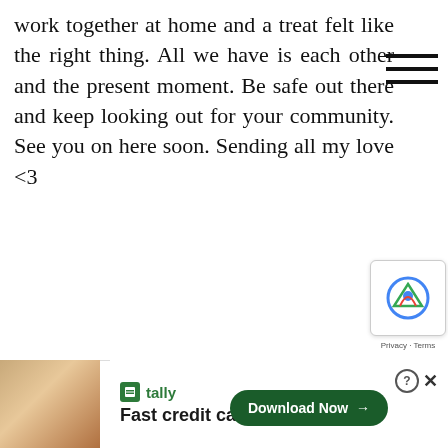work together at home and a treat felt like the right thing. All we have is each other and the present moment. Be safe out there and keep looking out for your community. See you on here soon. Sending all my love <3
[Figure (other): Hamburger menu icon (three horizontal lines) in top right area]
[Figure (screenshot): Advertisement banner for Tally app: 'Fast credit card payoff' with Download Now button]
[Figure (other): reCAPTCHA badge with Privacy and Terms links]